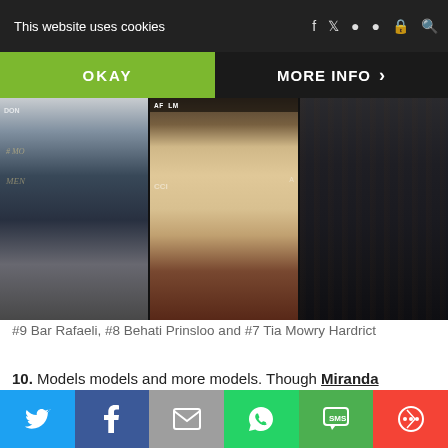This website uses cookies
OKAY
MORE INFO
[Figure (photo): Three cropped photos showing legs and shoes of celebrities: left shows a dark skirt and nude heels on a dark carpet, center shows bare legs with strappy black heels on a red carpet with LACMA signage, right shows legs in black tights with black boots on a wooden deck background.]
#9 Bar Rafaeli, #8 Behati Prinsloo and #7 Tia Mowry Hardrict
10. Models models and more models. Though Miranda Kerr is on her second pregnancy, we loved seeing her and fellow Victoria Secret runway stars 9. Bar Refaeli and 8.
Twitter | Facebook | Email | WhatsApp | SMS | More